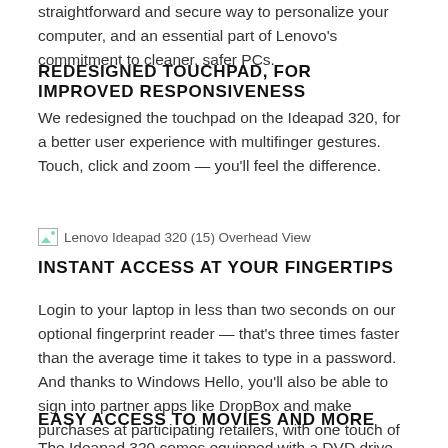straightforward and secure way to personalize your computer, and an essential part of Lenovo's commitment to cleaner, safer PCs.
REDESIGNED TOUCHPAD, FOR IMPROVED RESPONSIVENESS
We redesigned the touchpad on the Ideapad 320, for a better user experience with multifinger gestures. Touch, click and zoom — you'll feel the difference.
[Figure (photo): Lenovo Ideapad 320 (15) Overhead View]
INSTANT ACCESS AT YOUR FINGERTIPS
Login to your laptop in less than two seconds on our optional fingerprint reader — that's three times faster than the average time it takes to type in a password. And thanks to Windows Hello, you'll also be able to sign into partner apps like DropBox and make purchases at participating retailers, with one touch of your finger.
EASY ACCESS TO MOVIES AND MORE
The Ideapad 320 comes equipped with a DVD drive, so you'll be able to watch and listen to the movies and music you already own and